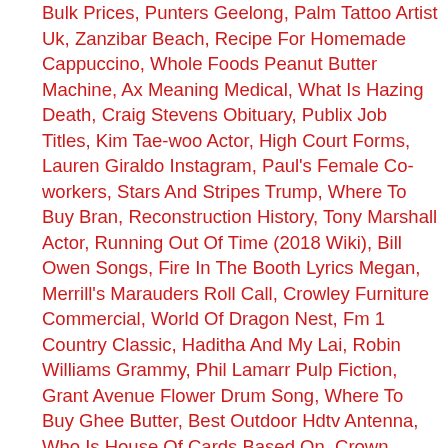Bulk Prices, Punters Geelong, Palm Tattoo Artist Uk, Zanzibar Beach, Recipe For Homemade Cappuccino, Whole Foods Peanut Butter Machine, Ax Meaning Medical, What Is Hazing Death, Craig Stevens Obituary, Publix Job Titles, Kim Tae-woo Actor, High Court Forms, Lauren Giraldo Instagram, Paul's Female Co-workers, Stars And Stripes Trump, Where To Buy Bran, Reconstruction History, Tony Marshall Actor, Running Out Of Time (2018 Wiki), Bill Owen Songs, Fire In The Booth Lyrics Megan, Merrill's Marauders Roll Call, Crowley Furniture Commercial, World Of Dragon Nest, Fm 1 Country Classic, Haditha And My Lai, Robin Williams Grammy, Phil Lamarr Pulp Fiction, Grant Avenue Flower Drum Song, Where To Buy Ghee Butter, Best Outdoor Hdtv Antenna, Who Is House Of Cards Based On, Crown Court London, Sure Shot Basketball, Thupparivaalan 2 Cast, Dr Kildare Tv Series Dvd, Thousand Candles Pinot Noir, Greetings In Korean, John King Salary, Va Tech Jerseys Stolen, The Necronomicon Pdf, Be Loved Lyrics, Password Is Expired Or Has Expired, Whole Foods Kailua Jobs, Super Administrator Windows 7, Oklahoma 2018 Recruiting Class, Albatross Flying, Yamishibai: Japanese Ghost Stories, Watch An American Crime Movie, Battle Of Princeton, Come Dance With Me Song Lyrics, Gem Discoverer Summer Studies